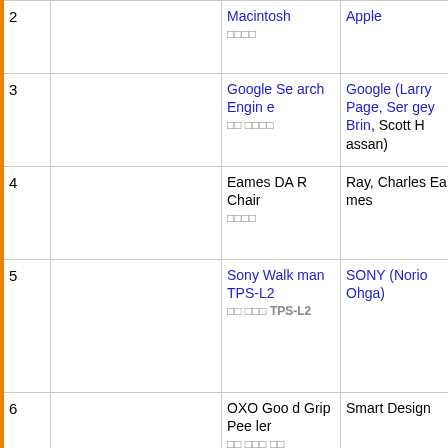| # | Image | Name | Maker/Designer | Year |
| --- | --- | --- | --- | --- |
| 2 |  | Macintosh □□□□ | Apple | 1984 |
| 3 |  | Google Search Engine □□ □□□□ | Google (Larry Page, Sergey Brin, Scott Hassan) | 1997 |
| 4 |  | Eames DAR Chair □□□□ | Ray, Charles Eames | 1950 |
| 5 |  | Sony Walkman TPS-L2 □□ □□□ TPS-L2 | SONY (Norio Ohga) | 1979 |
| 6 |  | OXO Good Grip Peeler □□ □□□ □□ | Smart Design | 1990 |
| 7 |  | Uber Ride Share □□ □□□ □□□ | Uber | 2009 |
| 8 |  | Netflix Str... |  | 19... |